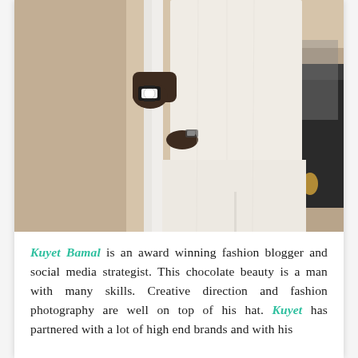[Figure (photo): A man wearing a white/cream long-sleeved outfit, adjusting his watch cufflink near a white door frame. The photo is cropped from chest to below knee.]
Kuyet Bamal is an award winning fashion blogger and social media strategist. This chocolate beauty is a man with many skills. Creative direction and fashion photography are well on top of his hat. Kuyet has partnered with a lot of high end brands and with his